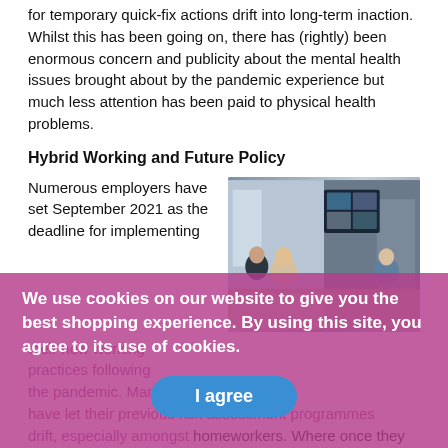for temporary quick-fix actions drift into long-term inaction. Whilst this has been going on, there has (rightly) been enormous concern and publicity about the mental health issues brought about by the pandemic experience but much less attention has been paid to physical health problems.
Hybrid Working and Future Policy
Numerous employers have set September 2021 as the deadline for implementing their new working practices following the pandemic. Many organisations have let their previous risk assessment programmes drift, especially amongst homeworkers. Where once they would have carried out a full face-to-face DSE
[Figure (photo): Office meeting photo showing people sitting around a table with a video conference screen displaying remote participants in a grid layout]
We use cookies on our website to give you the best shopping experience. By using this site, you agree to its use of cookies.